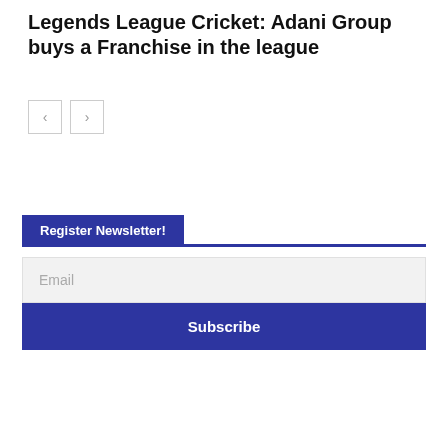Legends League Cricket: Adani Group buys a Franchise in the league
[Figure (other): Navigation previous/next arrow buttons]
Register Newsletter!
Email
Subscribe